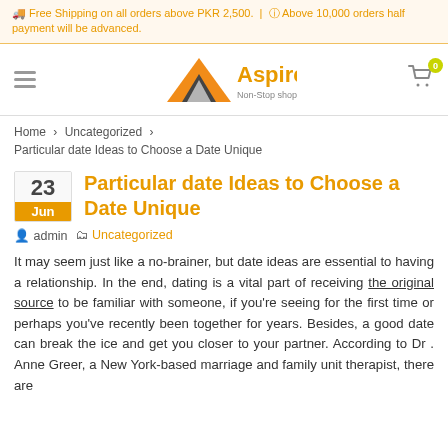Free Shipping on all orders above PKR 2,500. | Above 10,000 orders half payment will be advanced.
[Figure (logo): Aspire Non-Stop shopping logo with orange mountain/arrow icon]
Home > Uncategorized > Particular date Ideas to Choose a Date Unique
Particular date Ideas to Choose a Date Unique
admin   Uncategorized
It may seem just like a no-brainer, but date ideas are essential to having a relationship. In the end, dating is a vital part of receiving the original source to be familiar with someone, if you're seeing for the first time or perhaps you've recently been together for years. Besides, a good date can break the ice and get you closer to your partner. According to Dr . Anne Greer, a New York-based marriage and family unit therapist, there are